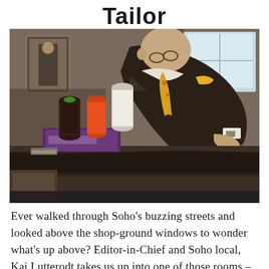Tailor
[Figure (photo): An elderly tailor in a dark blazer with a yellow pocket square and a floral tie, bent over a work surface, hand-stitching fabric. In the foreground, spools of thread (dark brown, orange, white) sit atop a purple box on the table. The background shows a workshop setting with framed pictures on the wall.]
Ever walked through Soho's buzzing streets and looked above the shop-ground windows to wonder what's up above? Editor-in-Chief and Soho local, Kai Lutterodt takes us up into one of those rooms – the